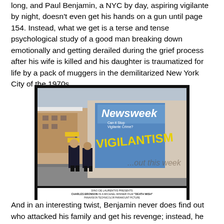long, and Paul Benjamin, a NYC by day, aspiring vigilante by night, doesn't even get his hands on a gun until page 154. Instead, what we get is a terse and tense psychological study of a good man breaking down emotionally and getting derailed during the grief process after his wife is killed and his daughter is traumatized for life by a pack of muggers in the demilitarized New York City of the 1970s.
[Figure (photo): Movie still from 'Death Wish' showing two men in dark suits walking past a large truck with a Newsweek magazine advertisement that reads 'VIGILANTISM ...out this week'. The scene appears to be set on a city street.]
DINO DE LAURENTIIS PRESENTS CHARLES BRONSON IN A MICHAEL WINNER FILM "DEATH WISH"
And in an interesting twist, Benjamin never does find out who attacked his family and get his revenge; instead, he